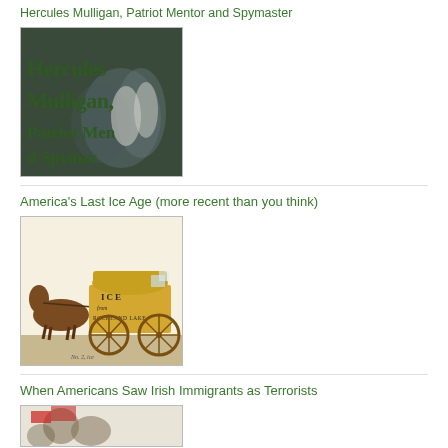Hercules Mulligan, Patriot Mentor and Spymaster
[Figure (photo): Book cover showing 'Hercules Mulligan, Patriot Mentor and Spymaster' in dark green bold serif text on a dark background]
America's Last Ice Age (more recent than you think)
[Figure (illustration): Illustration of a horse-drawn ice wagon labeled 'ICE from ROCKLAND LAKE' with a horse pulling a covered wagon with large wooden wheels]
When Americans Saw Irish Immigrants as Terrorists
[Figure (illustration): Historical illustration depicting Irish immigrants, partially visible at bottom of page]